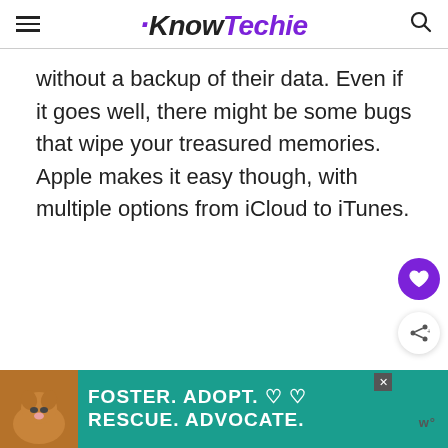KnowTechie
without a backup of their data. Even if it goes well, there might be some bugs that wipe your treasured memories. Apple makes it easy though, with multiple options from iCloud to iTunes.
[Figure (other): Purple circular like/heart button and share button on right side of page]
[Figure (other): Advertisement banner: dog image on left, teal background, text FOSTER. ADOPT. RESCUE. ADVOCATE. with heart symbols]
w°